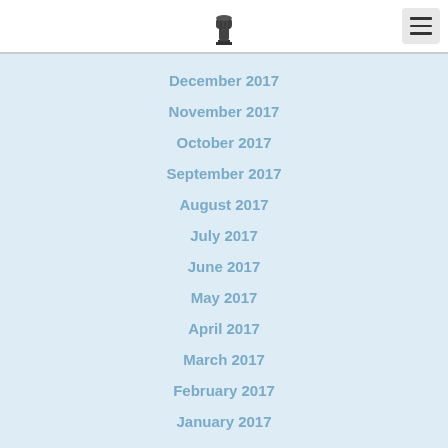[logo: raised fist icon]
December 2017
November 2017
October 2017
September 2017
August 2017
July 2017
June 2017
May 2017
April 2017
March 2017
February 2017
January 2017